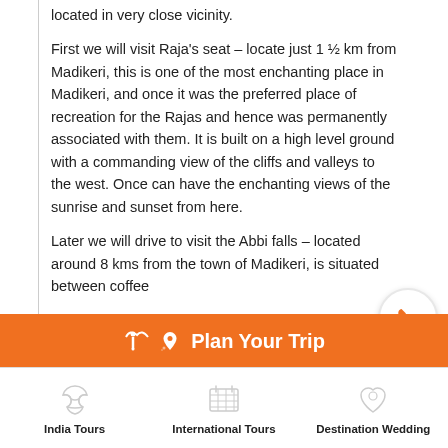located in very close vicinity.
First we will visit Raja's seat – locate just 1 ½ km from Madikeri, this is one of the most enchanting place in Madikeri, and once it was the preferred place of recreation for the Rajas and hence was permanently associated with them. It is built on a high level ground with a commanding view of the cliffs and valleys to the west. Once can have the enchanting views of the sunrise and sunset from here.
Later we will drive to visit the Abbi falls – located around 8 kms from the town of Madikeri, is situated between coffee
Plan Your Trip
India Tours
International Tours
Destination Wedding